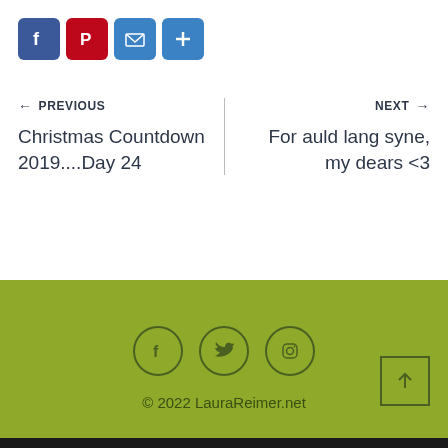[Figure (other): Social share buttons: Facebook (blue), Pinterest (red), Email (blue), More/Plus (blue)]
← PREVIOUS
Christmas Countdown 2019....Day 24
NEXT →
For auld lang syne, my dears <3
© 2022 LauraReimer.net